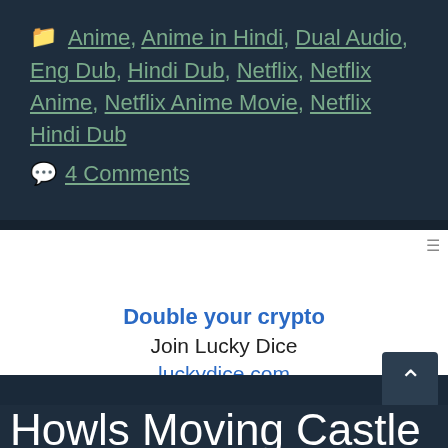Anime, Anime in Hindi, Dual Audio, Eng Dub, Hindi Dub, Netflix, Netflix Anime, Netflix Anime Movie, Netflix Hindi Dub
4 Comments
[Figure (other): Advertisement banner: Double your crypto / Join Lucky Dice / luckydice.com]
Howls Moving Castle